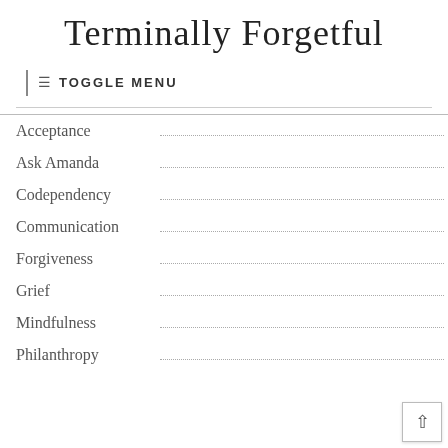Terminally Forgetful
TOGGLE MENU
Acceptance
Ask Amanda
Codependency
Communication
Forgiveness
Grief
Mindfulness
Philanthropy